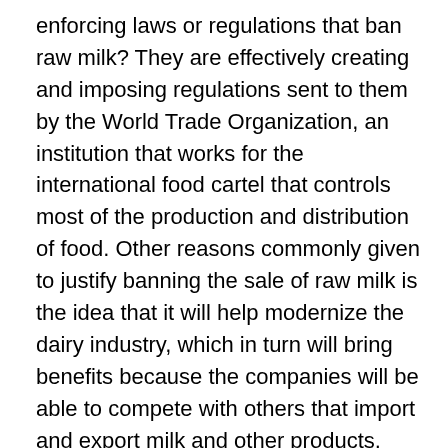enforcing laws or regulations that ban raw milk? They are effectively creating and imposing regulations sent to them by the World Trade Organization, an institution that works for the international food cartel that controls most of the production and distribution of food. Other reasons commonly given to justify banning the sale of raw milk is the idea that it will help modernize the dairy industry, which in turn will bring benefits because the companies will be able to compete with others that import and export milk and other products. None of this is true. The real reason is that countries affiliated to the WTO are mandated to adhere to its regulations if they want to have a chance to participate in so called Free Trade Agreements. Free Trade Agreements are tools used by the corporations to amass control over most if not all productive activities. Truly, food safety policies have little to do with public